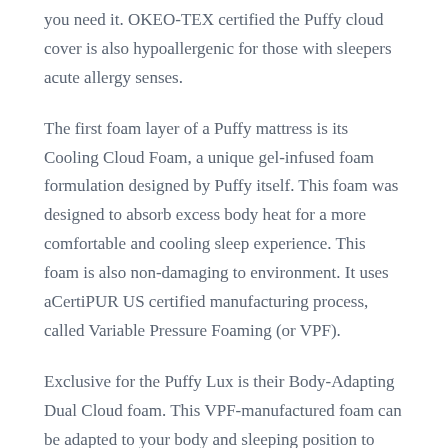you need it. OKEO-TEX certified the Puffy cloud cover is also hypoallergenic for those with sleepers acute allergy senses.
The first foam layer of a Puffy mattress is its Cooling Cloud Foam, a unique gel-infused foam formulation designed by Puffy itself. This foam was designed to absorb excess body heat for a more comfortable and cooling sleep experience. This foam is also non-damaging to environment. It uses aCertiPUR US certified manufacturing process, called Variable Pressure Foaming (or VPF).
Exclusive for the Puffy Lux is their Body-Adapting Dual Cloud foam. This VPF-manufactured foam can be adapted to your body and sleeping position to relieve tension around pressure points. Dual Cloud foam provides pressure relief and support without compromising comfort.
Climate comfort foam from Puffy helps with all of this. It regulates